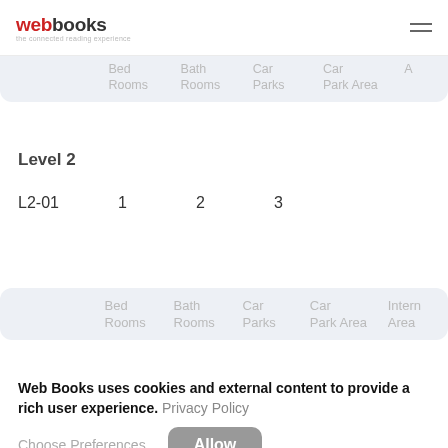webbooks (logo) with hamburger menu
|  | Bed Rooms | Bath Rooms | Car Parks | Car Park Area | A... |
| --- | --- | --- | --- | --- | --- |
| Level 2 |  |  |  |  |  |
| L2-01 | 1 | 2 | 3 |  |  |
|  | Bed Rooms | Bath Rooms | Car Parks | Car Park Area | Intern Area |
| --- | --- | --- | --- | --- | --- |
Web Books uses cookies and external content to provide a rich user experience. Privacy Policy
Choose Preferences   Allow